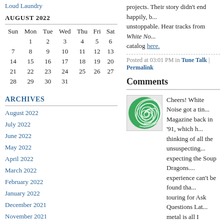Loud Laundry
AUGUST 2022
| Sun | Mon | Tue | Wed | Thu | Fri | Sat |
| --- | --- | --- | --- | --- | --- | --- |
|  | 1 | 2 | 3 | 4 | 5 | 6 |
| 7 | 8 | 9 | 10 | 11 | 12 | 13 |
| 14 | 15 | 16 | 17 | 18 | 19 | 20 |
| 21 | 22 | 23 | 24 | 25 | 26 | 27 |
| 28 | 29 | 30 | 31 |  |  |  |
ARCHIVES
August 2022
July 2022
June 2022
May 2022
April 2022
March 2022
February 2022
January 2022
December 2021
November 2021
projects. Their story didn't end happily, b... unstoppable. Hear tracks from White No... catalog here.
Posted at 03:01 PM in Tune Talk | Permalink
Comments
[Figure (illustration): Green swirling spiral avatar image]
Cheers! White Noise got a tin... Magazine back in '91, which ... thinking of all the unsuspecting... expecting the Soup Dragons.... experience can't be found tha... touring for Ask Questions Lat... metal is all I remember!
Posted by: Mr. Base | March 23, 20...
Post a comment
Comments are moderated, and will not a... them.